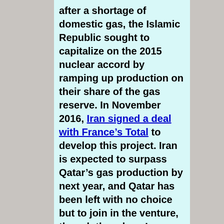after a shortage of domestic gas, the Islamic Republic sought to capitalize on the 2015 nuclear accord by ramping up production on their share of the gas reserve. In November 2016, Iran signed a deal with France’s Total to develop this project. Iran is expected to surpass Qatar’s gas production by next year, and Qatar has been left with no choice but to join in the venture, though they deny Iran prompted their response to lift the ban. “What we